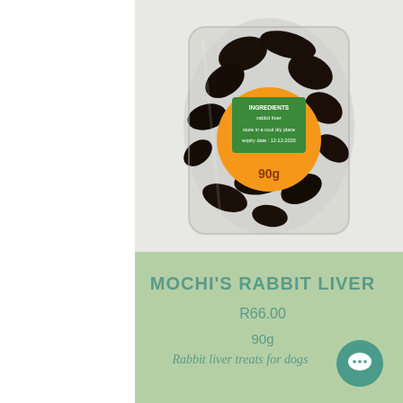[Figure (photo): A clear plastic bag of dried rabbit liver treats for dogs, with an orange circular label showing: INGREDIENTS rabbit liver, store in a cool dry place, expiry date: 12-12-2020, 90g]
MOCHI'S RABBIT LIVER
R66.00
90g
Rabbit liver treats for dogs